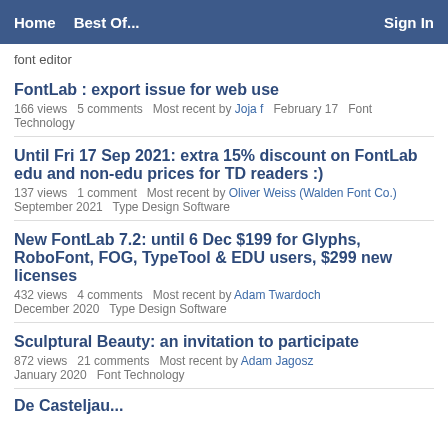Home   Best Of...   Sign In
font editor
FontLab : export issue for web use
166 views   5 comments   Most recent by Joja f   February 17   Font Technology
Until Fri 17 Sep 2021: extra 15% discount on FontLab edu and non-edu prices for TD readers :)
137 views   1 comment   Most recent by Oliver Weiss (Walden Font Co.)   September 2021   Type Design Software
New FontLab 7.2: until 6 Dec $199 for Glyphs, RoboFont, FOG, TypeTool & EDU users, $299 new licenses
432 views   4 comments   Most recent by Adam Twardoch   December 2020   Type Design Software
Sculptural Beauty: an invitation to participate
872 views   21 comments   Most recent by Adam Jagosz   January 2020   Font Technology
De Casteljau...